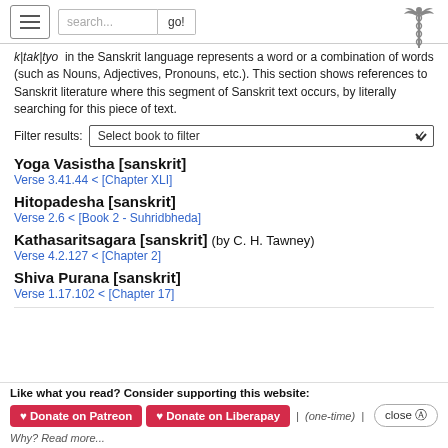search... go!
k|tak|tyo in the Sanskrit language represents a word or a combination of words (such as Nouns, Adjectives, Pronouns, etc.). This section shows references to Sanskrit literature where this segment of Sanskrit text occurs, by literally searching for this piece of text.
Filter results: Select book to filter
Yoga Vasistha [sanskrit]
Verse 3.41.44 < [Chapter XLI]
Hitopadesha [sanskrit]
Verse 2.6 < [Book 2 - Suhridbheda]
Kathasaritsagara [sanskrit] (by C. H. Tawney)
Verse 4.2.127 < [Chapter 2]
Shiva Purana [sanskrit]
Verse 1.17.102 < [Chapter 17]
Like what you read? Consider supporting this website:
♥ Donate on Patreon   ♥ Donate on Liberapay   | (one-time) |   close ✗
Why? Read more...